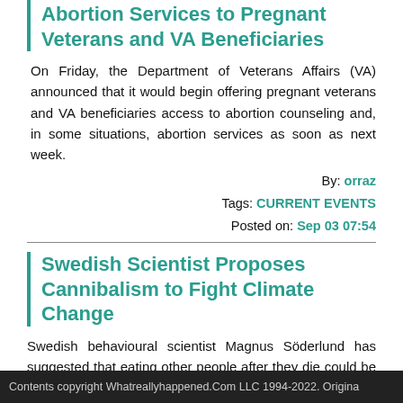Abortion Services to Pregnant Veterans and VA Beneficiaries
On Friday, the Department of Veterans Affairs (VA) announced that it would begin offering pregnant veterans and VA beneficiaries access to abortion counseling and, in some situations, abortion services as soon as next week.
By: orraz
Tags: CURRENT EVENTS
Posted on: Sep 03 07:54
Swedish Scientist Proposes Cannibalism to Fight Climate Change
Swedish behavioural scientist Magnus Söderlund has suggested that eating other people after they die could be a means of combatting climate change.
The scientist mentioned the possibility of cannibalism
Contents copyright Whatreallyhappened.Com LLC 1994-2022. Origina